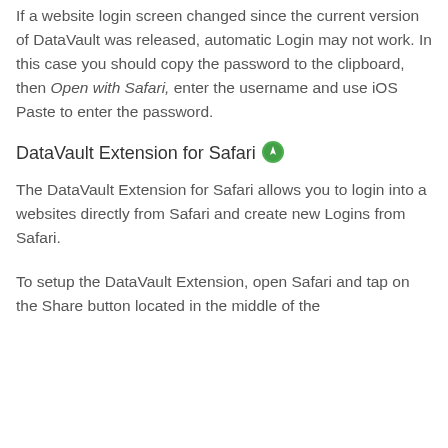If a website login screen changed since the current version of DataVault was released, automatic Login may not work. In this case you should copy the password to the clipboard, then Open with Safari, enter the username and use iOS Paste to enter the password.
DataVault Extension for Safari
The DataVault Extension for Safari allows you to login into a websites directly from Safari and create new Logins from Safari.
To setup the DataVault Extension, open Safari and tap on the Share button located in the middle of the